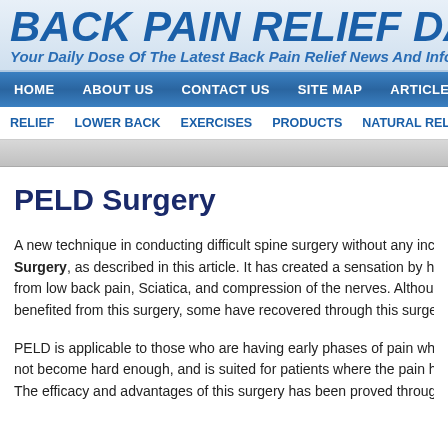BACK PAIN RELIEF DA...
Your Daily Dose Of The Latest Back Pain Relief News And Info...
HOME | ABOUT US | CONTACT US | SITE MAP | ARTICLES
RELIEF | LOWER BACK | EXERCISES | PRODUCTS | NATURAL RELIEF | T...
PELD Surgery
A new technique in conducting difficult spine surgery without any inci... Surgery, as described in this article. It has created a sensation by he... from low back pain, Sciatica, and compression of the nerves. Althoug... benefited from this surgery, some have recovered through this surge...
PELD is applicable to those who are having early phases of pain whe... not become hard enough, and is suited for patients where the pain h... The efficacy and advantages of this surgery has been proved throug...